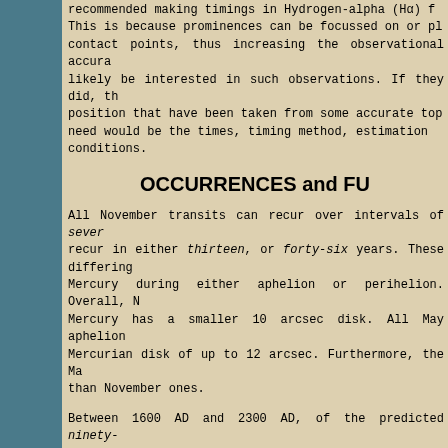recommended making timings in Hydrogen-alpha (Hα) f... This is because prominences can be focussed on or pla... contact points, thus increasing the observational accura... likely be interested in such observations. If they did, the... position that have been taken from some accurate topo... need would be the times, timing method, estimation ... conditions.
OCCURRENCES and FU...
All November transits can recur over intervals of sever... recur in either thirteen, or forty-six years. These differing... Mercury during either aphelion or perihelion. Overall, N... Mercury has a smaller 10 arcsec disk. All May aphelion... Mercurian disk of up to 12 arcsec. Furthermore, the Ma... than November ones.
Between 1600 AD and 2300 AD, of the predicted ninety-... and the other seventy-one are November transits. I.e. 3... the different transits, similar transit circumstances recur ...
TRANSITS of MERCURY :
| Date | Time |  |
| --- | --- | --- |